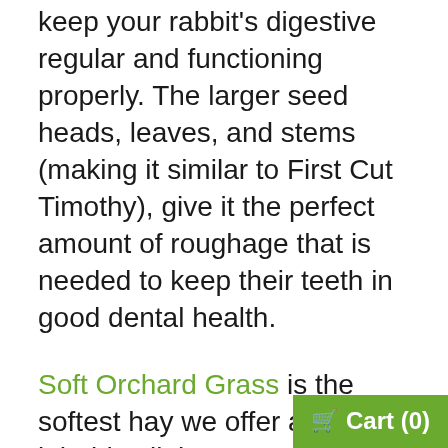keep your rabbit's digestive regular and functioning properly. The larger seed heads, leaves, and stems (making it similar to First Cut Timothy), give it the perfect amount of roughage that is needed to keep their teeth in good dental health.
Soft Orchard Grass is the softest hay we offer and while it holds all the necessary nutrients to keep their digestion system healthy it lacks the coarse fiber needed to maintain their teeth. If you switch to Soft Orchard Grass just make sure that you let your veterinarian know so they can keep an eye on their teeth. We also suggest adding in some Apple Chew Sticks to keep their teeth in good dental health (bonus:
Cart (0)